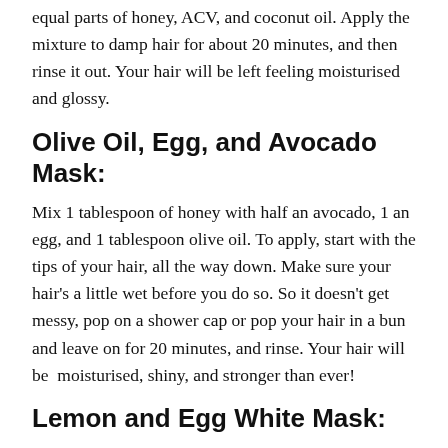equal parts of honey, ACV, and coconut oil. Apply the mixture to damp hair for about 20 minutes, and then rinse it out. Your hair will be left feeling moisturised and glossy.
Olive Oil, Egg, and Avocado Mask:
Mix 1 tablespoon of honey with half an avocado, 1 an egg, and 1 tablespoon olive oil. To apply, start with the tips of your hair, all the way down. Make sure your hair's a little wet before you do so. So it doesn't get messy, pop on a shower cap or pop your hair in a bun and leave on for 20 minutes, and rinse. Your hair will be  moisturised, shiny, and stronger than ever!
Lemon and Egg White Mask:
For dry and well as greasy hair, this might just be one of the best masks out there! Grab half a lemon and one egg white. Mix both in a bowl and apply to your hair from roots to ends. Let it sit for an hour, and then rinse with lukewarm water.